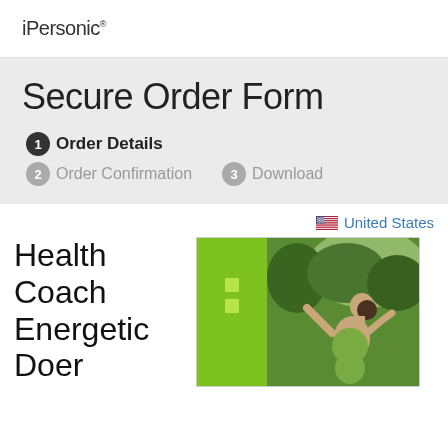iPersonic®
Secure Order Form
1 Order Details
2 Order Confirmation
3 Download
United States
Health Coach Energetic Doer
[Figure (photo): Product cover image showing a green panel with squares and a woman stretching outdoors in nature]